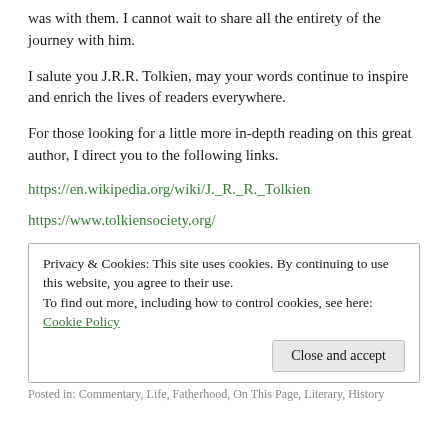was with them. I cannot wait to share all the entirety of the journey with him.
I salute you J.R.R. Tolkien, may your words continue to inspire and enrich the lives of readers everywhere.
For those looking for a little more in-depth reading on this great author, I direct you to the following links.
https://en.wikipedia.org/wiki/J._R._R._Tolkien
https://www.tolkiensociety.org/
Privacy & Cookies: This site uses cookies. By continuing to use this website, you agree to their use.
To find out more, including how to control cookies, see here: Cookie Policy
Posted in: Commentary, Life, Fatherhood, On This Page, Literary, History